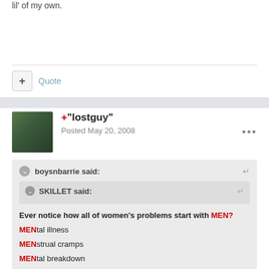lil' of my own.
Quote
+"lostguy"
Posted May 20, 2008
boysnbarrie said:
SKILLET said:
Ever notice how all of women's problems start with MEN?
MENtal illness
MENstrual cramps
MENtal breakdown
MENopause
GUYnecologist